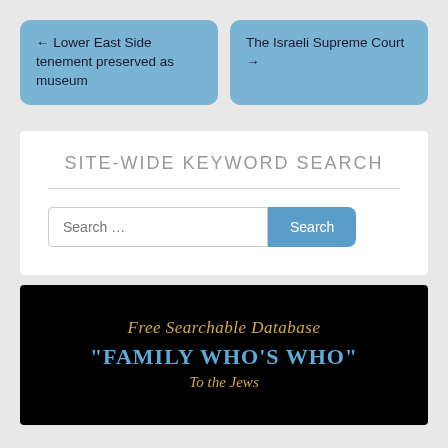← Lower East Side tenement preserved as museum
The Israeli Supreme Court →
SITE-WIDE KEYWORD SEARCH
Search ...
[Figure (screenshot): Black banner image with gold italic text 'Free Searchable Database' and bold blue text '"FAMILY WHO'S WHO"' below it, with additional partially visible text at bottom.]